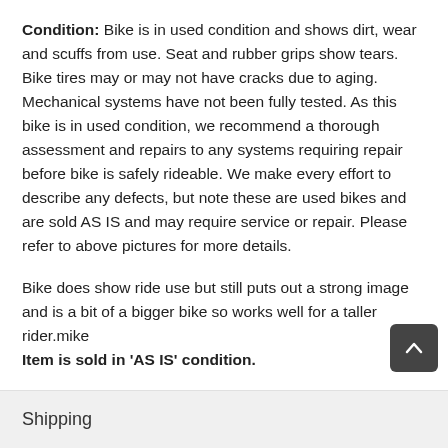Condition: Bike is in used condition and shows dirt, wear and scuffs from use. Seat and rubber grips show tears. Bike tires may or may not have cracks due to aging. Mechanical systems have not been fully tested. As this bike is in used condition, we recommend a thorough assessment and repairs to any systems requiring repair before bike is safely rideable. We make every effort to describe any defects, but note these are used bikes and are sold AS IS and may require service or repair. Please refer to above pictures for more details.

Bike does show ride use but still puts out a strong image and is a bit of a bigger bike so works well for a taller rider.mike
Item is sold in 'AS IS' condition.
Shipping